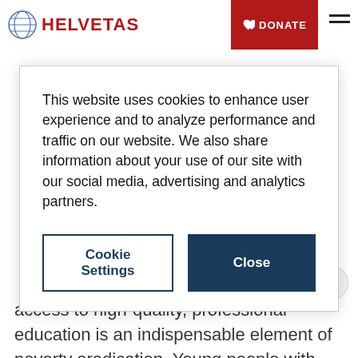HELVETAS | DONATE
This website uses cookies to enhance user experience and to analyze performance and traffic on our website. We also share information about your use of our site with our social media, advertising and analytics partners.
Cookie Settings | Close
access to high-quality, professional education is an indispensable element of poverty eradication. Young people with career prospects are also less prone to co... violence.
What we do